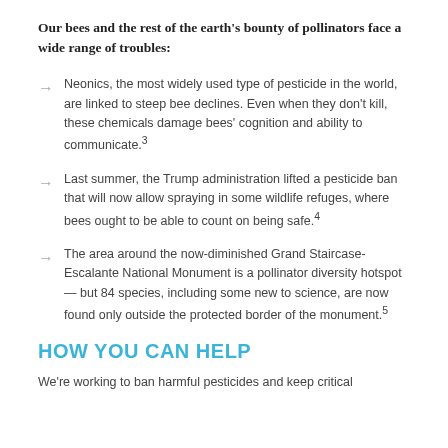Our bees and the rest of the earth's bounty of pollinators face a wide range of troubles:
Neonics, the most widely used type of pesticide in the world, are linked to steep bee declines. Even when they don't kill, these chemicals damage bees' cognition and ability to communicate.3
Last summer, the Trump administration lifted a pesticide ban that will now allow spraying in some wildlife refuges, where bees ought to be able to count on being safe.4
The area around the now-diminished Grand Staircase-Escalante National Monument is a pollinator diversity hotspot — but 84 species, including some new to science, are now found only outside the protected border of the monument.5
HOW YOU CAN HELP
We're working to ban harmful pesticides and keep critical